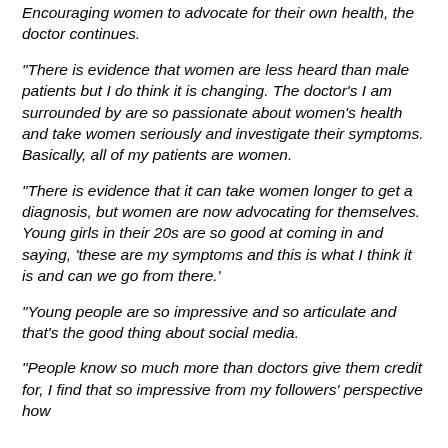Encouraging women to advocate for their own health, the doctor continues.
“There is evidence that women are less heard than male patients but I do think it is changing. The doctor’s I am surrounded by are so passionate about women’s health and take women seriously and investigate their symptoms. Basically, all of my patients are women.
“There is evidence that it can take women longer to get a diagnosis, but women are now advocating for themselves. Young girls in their 20s are so good at coming in and saying, ‘these are my symptoms and this is what I think it is and can we go from there.’
“Young people are so impressive and so articulate and that’s the good thing about social media.
“People know so much more than doctors give them credit for, I find that so impressive from my followers’ perspective how